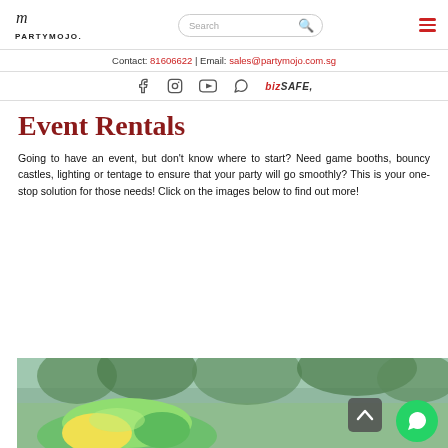PARTYMOJO. [logo] | Search bar | Hamburger menu
Contact: 81606622 | Email: sales@partymojo.com.sg
[Figure (other): Social media icons: Facebook, Instagram, YouTube, WhatsApp, and BizSAFE logo]
Event Rentals
Going to have an event, but don't know where to start? Need game booths, bouncy castles, lighting or tentage to ensure that your party will go smoothly? This is your one-stop solution for those needs! Click on the images below to find out more!
[Figure (photo): Photo of a bouncy castle or inflatable event rental, green and yellow colors, outdoors with trees in background]